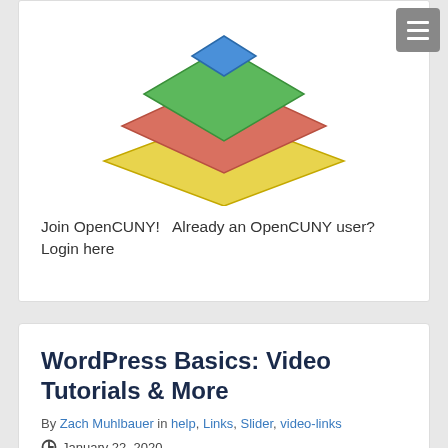[Figure (illustration): Stacked colorful diamond/chevron shapes: blue at top, green layer, red/salmon layer, yellow/gold bottom layer — forming a downward-pointing layered logo shape.]
Join OpenCUNY!   Already an OpenCUNY user?   Login here
WordPress Basics: Video Tutorials & More
By Zach Muhlbauer in help, Links, Slider, video-links
January 22, 2020